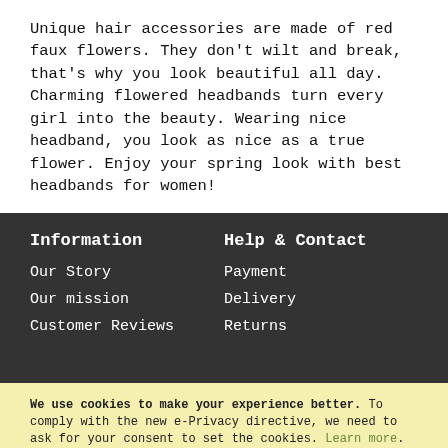Unique hair accessories are made of red faux flowers. They don't wilt and break, that's why you look beautiful all day. Charming flowered headbands turn every girl into the beauty. Wearing nice headband, you look as nice as a true flower. Enjoy your spring look with best headbands for women!
Information
Help & Contact
Our Story
Payment
Our mission
Delivery
Customer Reviews
Returns
We use cookies to make your experience better. To comply with the new e-Privacy directive, we need to ask for your consent to set the cookies. Learn more.